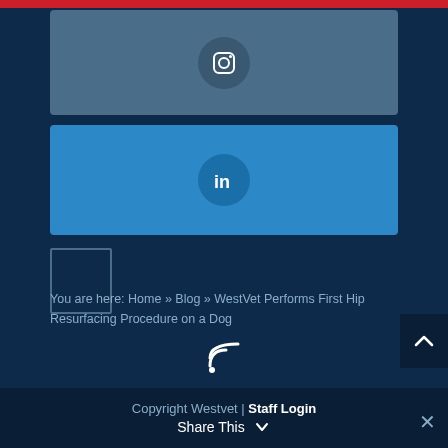[Figure (other): Red horizontal bar at top of page]
[Figure (other): Instagram social media button with camera icon in a grey-blue rounded rectangle]
[Figure (other): LinkedIn social media button with 'in' icon in a blue rounded rectangle]
[Figure (other): Small empty placeholder box / checkbox outline]
You are here: Home » Blog » WestVet Performs First Hip Resurfacing Procedure on a Dog
[Figure (other): RSS feed icon]
Copyright Westvet | Staff Login  Share This
[Figure (other): Scroll to top arrow button on right side]